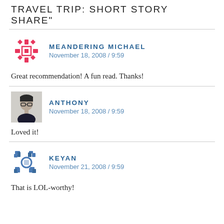TRAVEL TRIP: SHORT STORY SHARE"
MEANDERING MICHAEL
November 18, 2008 / 9:59

Great recommendation! A fun read. Thanks!
ANTHONY
November 18, 2008 / 9:59

Loved it!
KEYAN
November 21, 2008 / 9:59

That is LOL-worthy!